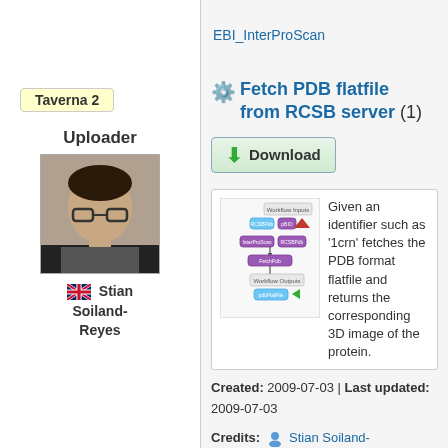EBI_InterProScan
Taverna 2
Uploader
[Figure (photo): Photo of Stian Soiland-Reyes]
Stian Soiland-Reyes
Fetch PDB flatfile from RCSB server (1)
Download
[Figure (flowchart): Workflow diagram showing Taverna workflow with purple boxes and arrows for Fetch PDB flatfile process]
Given an identifier such as '1crn' fetches the PDB format flatfile and returns the corresponding 3D image of the protein.
Created: 2009-07-03 | Last updated: 2009-07-03
Credits: Stian Soiland-Reyes
Attribution: Fetch